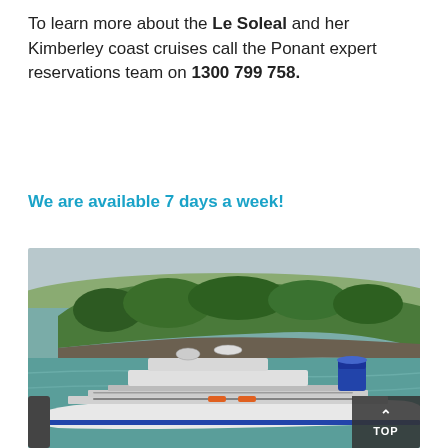To learn more about the Le Soleal and her Kimberley coast cruises call the Ponant expert reservations team on 1300 799 758.
We are available 7 days a week!
[Figure (photo): Aerial view of a cruise ship (Le Soleal) docked near a lush green island with trees, rocky shoreline, and calm water. A 'TOP' navigation button overlay is visible in the bottom-right corner.]